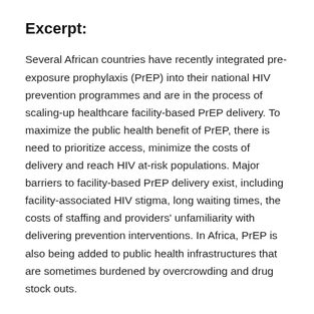Excerpt:
Several African countries have recently integrated pre-exposure prophylaxis (PrEP) into their national HIV prevention programmes and are in the process of scaling-up healthcare facility-based PrEP delivery. To maximize the public health benefit of PrEP, there is need to prioritize access, minimize the costs of delivery and reach HIV at-risk populations. Major barriers to facility-based PrEP delivery exist, including facility-associated HIV stigma, long waiting times, the costs of staffing and providers' unfamiliarity with delivering prevention interventions. In Africa, PrEP is also being added to public health infrastructures that are sometimes burdened by overcrowding and drug stock outs.